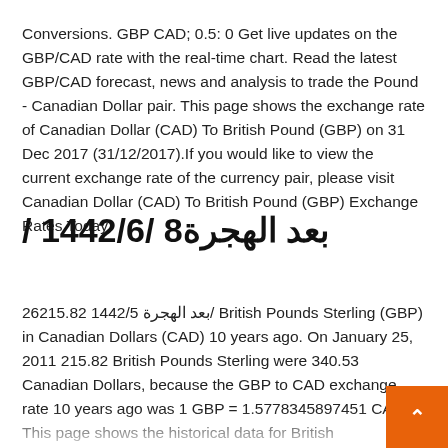Conversions. GBP CAD; 0.5: 0 Get live updates on the GBP/CAD rate with the real-time chart. Read the latest GBP/CAD forecast, news and analysis to trade the Pound - Canadian Dollar pair. This page shows the exchange rate of Canadian Dollar (CAD) To British Pound (GBP) on 31 Dec 2017 (31/12/2017).If you would like to view the current exchange rate of the currency pair, please visit Canadian Dollar (CAD) To British Pound (GBP) Exchange Rates Today.
/ 1442/6/ بعد الهجرة8
26215.82 بعد الهجرة 1442/5/ British Pounds Sterling (GBP) in Canadian Dollars (CAD) 10 years ago. On January 25, 2011 215.82 British Pounds Sterling were 340.53 Canadian Dollars, because the GBP to CAD exchange rate 10 years ago was 1 GBP = 1.5778345897451 CAD This page shows the historical data for British Pound(GBP) To Canadian Dollar(CAD) From Monday 28/12/2020 To Tuesday 19/01/2021. With the history chart of currency pairs you can review market history and analyze rate trends.